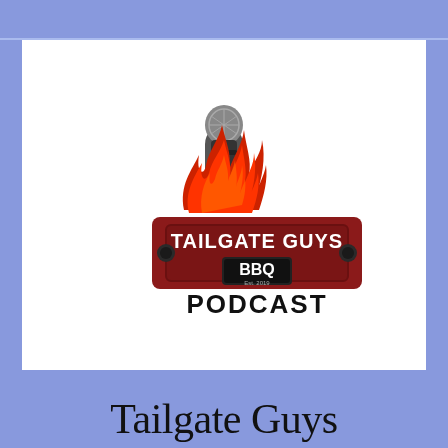[Figure (logo): Tailgate Guys BBQ Podcast logo: a dark red truck tailgate with 'TAILGATE GUYS' text and 'BBQ Est. 2019' badge, flames rising from it, and a microphone above the flames]
Tailgate Guys